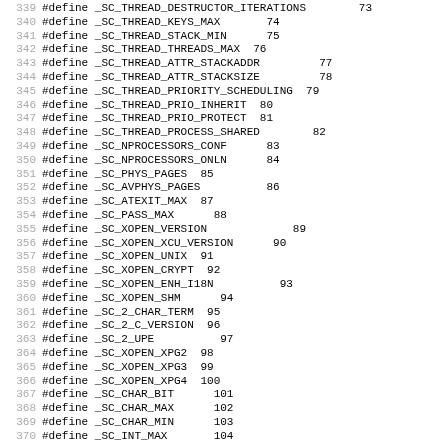339 #define _SC_THREAD_DESTRUCTOR_ITERATIONS        73
340 #define _SC_THREAD_KEYS_MAX       74
341 #define _SC_THREAD_STACK_MIN      75
342 #define _SC_THREAD_THREADS_MAX  76
343 #define _SC_THREAD_ATTR_STACKADDR         77
344 #define _SC_THREAD_ATTR_STACKSIZE         78
345 #define _SC_THREAD_PRIORITY_SCHEDULING  79
346 #define _SC_THREAD_PRIO_INHERIT  80
347 #define _SC_THREAD_PRIO_PROTECT  81
348 #define _SC_THREAD_PROCESS_SHARED        82
349 #define _SC_NPROCESSORS_CONF      83
350 #define _SC_NPROCESSORS_ONLN      84
351 #define _SC_PHYS_PAGES  85
352 #define _SC_AVPHYS_PAGES          86
353 #define _SC_ATEXIT_MAX  87
354 #define _SC_PASS_MAX      88
355 #define _SC_XOPEN_VERSION             89
356 #define _SC_XOPEN_XCU_VERSION      90
357 #define _SC_XOPEN_UNIX  91
358 #define _SC_XOPEN_CRYPT  92
359 #define _SC_XOPEN_ENH_I18N          93
360 #define _SC_XOPEN_SHM      94
361 #define _SC_2_CHAR_TERM  95
362 #define _SC_2_C_VERSION  96
363 #define _SC_2_UPE          97
364 #define _SC_XOPEN_XPG2  98
365 #define _SC_XOPEN_XPG3  99
366 #define _SC_XOPEN_XPG4  100
367 #define _SC_CHAR_BIT      101
368 #define _SC_CHAR_MAX      102
369 #define _SC_CHAR_MIN      103
370 #define _SC_INT_MAX       104